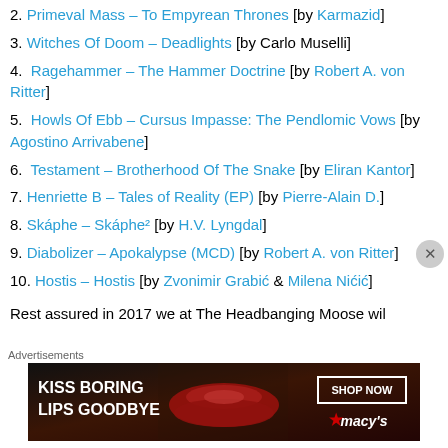2. Primeval Mass – To Empyrean Thrones [by Karmazid]
3. Witches Of Doom – Deadlights [by Carlo Muselli]
4. Ragehammer – The Hammer Doctrine [by Robert A. von Ritter]
5. Howls Of Ebb – Cursus Impasse: The Pendlomic Vows [by Agostino Arrivabene]
6. Testament – Brotherhood Of The Snake [by Eliran Kantor]
7. Henriette B – Tales of Reality (EP) [by Pierre-Alain D.]
8. Skáphe – Skáphe² [by H.V. Lyngdal]
9. Diabolizer – Apokalypse (MCD) [by Robert A. von Ritter]
10. Hostis – Hostis [by Zvonimir Grabić & Milena Nićić]
Rest assured in 2017 we at The Headbanging Moose wil
[Figure (other): Macy's advertisement banner: 'Kiss Boring Lips Goodbye' with Shop Now button and Macy's logo with star]